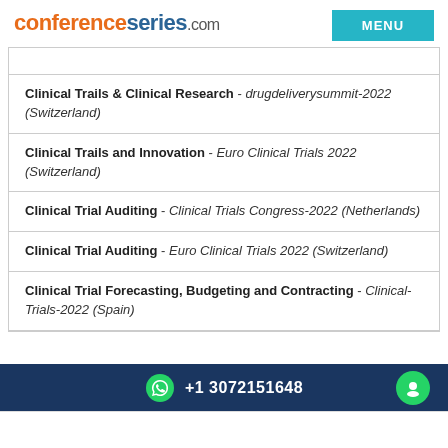conferenceseries.com
Clinical Trails & Clinical Research - drugdeliverysummit-2022 (Switzerland)
Clinical Trails and Innovation - Euro Clinical Trials 2022 (Switzerland)
Clinical Trial Auditing - Clinical Trials Congress-2022 (Netherlands)
Clinical Trial Auditing - Euro Clinical Trials 2022 (Switzerland)
Clinical Trial Forecasting, Budgeting and Contracting - Clinical-Trials-2022 (Spain)
+1 3072151648